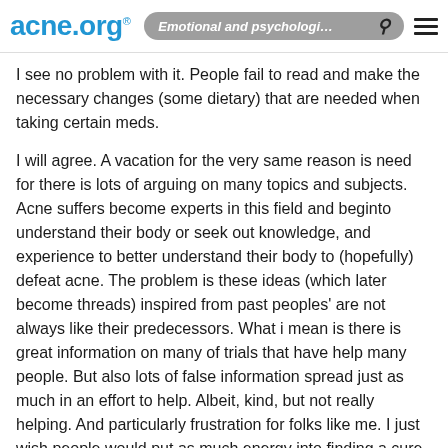acne.org® — Emotional and psychological effects of acne
I see no problem with it. People fail to read and make the necessary changes (some dietary) that are needed when taking certain meds.
I will agree. A vacation for the very same reason is need for there is lots of arguing on many topics and subjects. Acne suffers become experts in this field and beginto understand their body or seek out knowledge, and experience to better understand their body to (hopefully) defeat acne. The problem is these ideas (which later become threads) inspired from past peoples' are not always like their predecessors. What i mean is there is great information on many of trials that have help many people. But also lots of false information spread just as much in an effort to help. Albeit, kind, but not really helping. And particularly frustration for folks like me. I just wish people would put as much energy into finding a cure or to help as they would into what they post in order to limit such ideas that "spiro is dangerous". Anything is dangerous really, but attention to detail can win over that danger...
So please. Take your vacation or your leave. It is needed as i agree having had rounds with those in the dietary habits forums with self